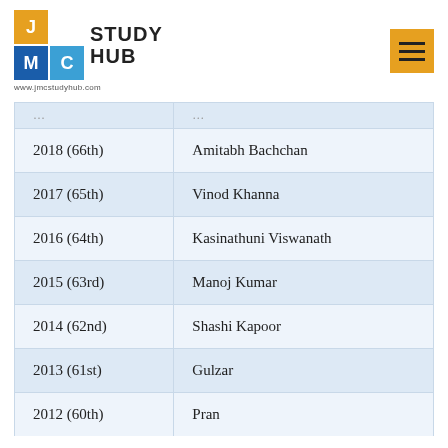JMC Study Hub — www.jmcstudyhub.com
| Year | Name |
| --- | --- |
| 2018 (66th) | Amitabh Bachchan |
| 2017 (65th) | Vinod Khanna |
| 2016 (64th) | Kasinathuni Viswanath |
| 2015 (63rd) | Manoj Kumar |
| 2014 (62nd) | Shashi Kapoor |
| 2013 (61st) | Gulzar |
| 2012 (60th) | Pran |